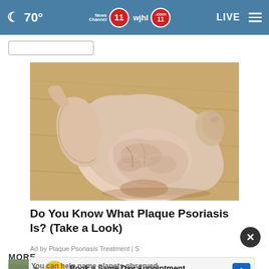🌙 70° | News Channel 11 | wjhl 11 | LIVE
[Figure (photo): Close-up photo of a hand holding a foot/ankle with dry, scaly skin indicative of plaque psoriasis, resting on a wooden floor surface.]
Do You Know What Plaque Psoriasis Is? (Take a Look)
Ad by Plaque Psoriasis Treatment | S
MORE
Book a Same Day Appointment Hair Cuttery
You can help name planets observed